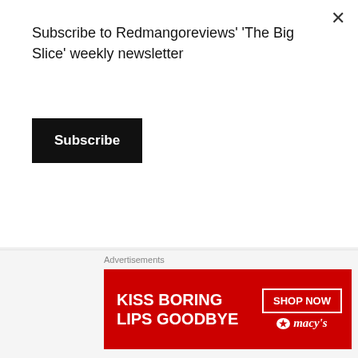Subscribe to Redmangoreviews' 'The Big Slice' weekly newsletter
Subscribe
baby adopt a 9 year-old girl who is not nearly as innocent as she claims to be.
Advertisements
[Figure (illustration): Macy's advertisement banner: 'KISS BORING LIPS GOODBYE' with a woman's face and red lips, with 'SHOP NOW' button and Macy's star logo on red background]